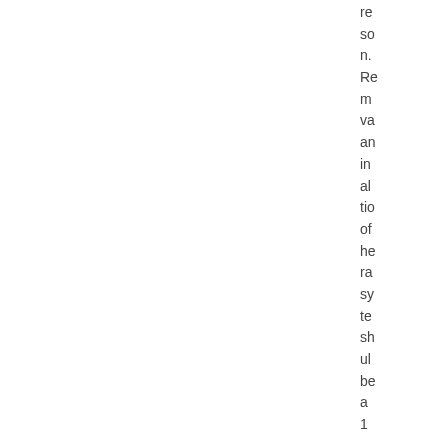re so n. Re m va an in al tio of he ra sy te sh ul be a 1